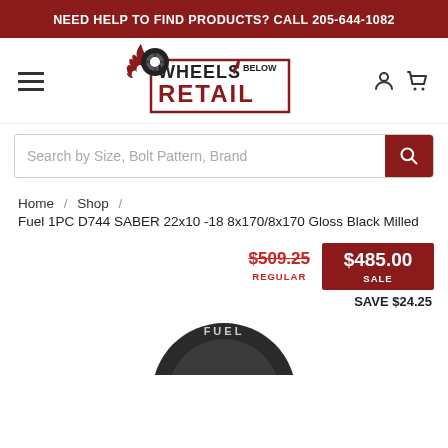NEED HELP TO FIND PRODUCTS? CALL 205-644-1082
[Figure (logo): Wheels Below Retail logo with flame and tire graphic]
Search by Size, Bolt Pattern, Brand
Home / Shop / Fuel 1PC D744 SABER 22x10 -18 8x170/8x170 Gloss Black Milled
$509.25 REGULAR  $485.00 SALE  SAVE $24.25
[Figure (photo): Partial view of a dark fuel wheel/rim at the bottom of the page]